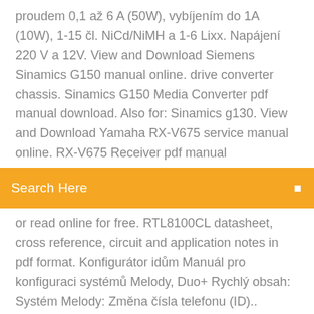proudem 0,1 až 6 A (50W), vybíjením do 1A (10W), 1-15 čl. NiCd/NiMH a 1-6 Lixx. Napájení 220 V a 12V. View and Download Siemens Sinamics G150 manual online. drive converter chassis. Sinamics G150 Media Converter pdf manual download. Also for: Sinamics g130. View and Download Yamaha RX-V675 service manual online. RX-V675 Receiver pdf manual
[Figure (other): Orange search bar with text 'Search Here' and a search icon on the right]
or read online for free. RTL8100CL datasheet, cross reference, circuit and application notes in pdf format. Konfigurátor idům Manuál pro konfiguraci systémů Melody, Duo+ Rychlý obsah: Systém Melody: Změna čísla telefonu (ID).. Povolit/zakázat interkom u telefonu Změna doby otevření dveří
Polk dsb1 soundbar manual
Boiler transfer switch manual
Dynaco pat 5 manual
Clock parts list manual